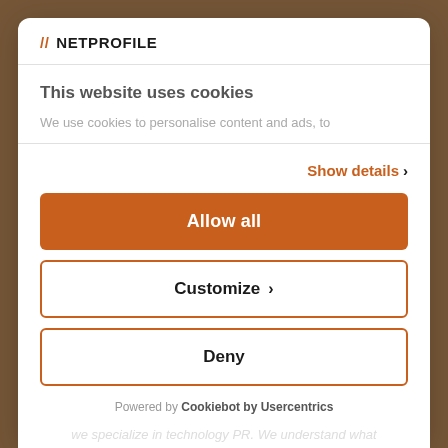[Figure (screenshot): Background image visible behind modal, brownish-warm tone]
// NETPROFILE
This website uses cookies
We use cookies to personalise content and ads, to
Show details ›
Allow all
Customize ›
Deny
Powered by Cookiebot by Usercentrics
we specialize in technology PR. We understand what